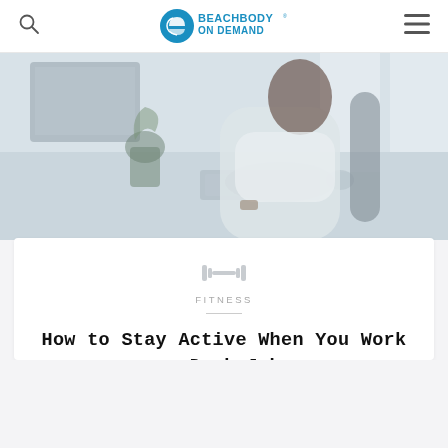Beachbody On Demand
[Figure (photo): Woman in white blouse sitting at a desk with a computer, keyboard, and plant, working in a bright office environment. Image has a faded/washed-out look.]
FITNESS
How to Stay Active When You Work a Desk Job